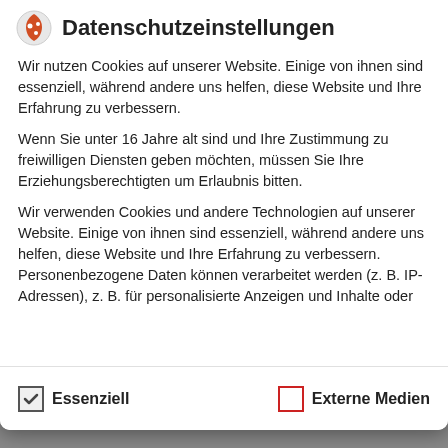Datenschutzeinstellungen
Wir nutzen Cookies auf unserer Website. Einige von ihnen sind essenziell, während andere uns helfen, diese Website und Ihre Erfahrung zu verbessern.
Wenn Sie unter 16 Jahre alt sind und Ihre Zustimmung zu freiwilligen Diensten geben möchten, müssen Sie Ihre Erziehungsberechtigten um Erlaubnis bitten.
Wir verwenden Cookies und andere Technologien auf unserer Website. Einige von ihnen sind essenziell, während andere uns helfen, diese Website und Ihre Erfahrung zu verbessern. Personenbezogene Daten können verarbeitet werden (z. B. IP-Adressen), z. B. für personalisierte Anzeigen und Inhalte oder
Essenziell
Externe Medien
Mate Power – Sternenhimmel
DJ Y alias JY – Sunny Happy Easy (Cro vs. Gorillaz vs. Bobby Hebb)
DJ Y alias JY – Fettes Brot Is Stayin' Alive (N-Trance vs.